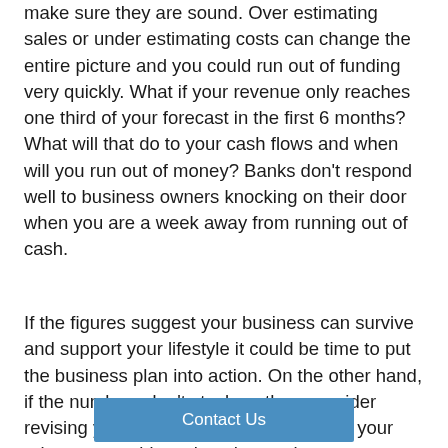make sure they are sound. Over estimating sales or under estimating costs can change the entire picture and you could run out of funding very quickly. What if your revenue only reaches one third of your forecast in the first 6 months? What will that do to your cash flows and when will you run out of money? Banks don't respond well to business owners knocking on their door when you are a week away from running out of cash.
If the figures suggest your business can survive and support your lifestyle it could be time to put the business plan into action. On the other hand, if the numbers don't stack up then consider revising your estimates. Could you push your prices up, could you buy the stock or raw materials at a cheaper price, could you buy a smaller quantity, could you lease a smaller and cheaper premises?